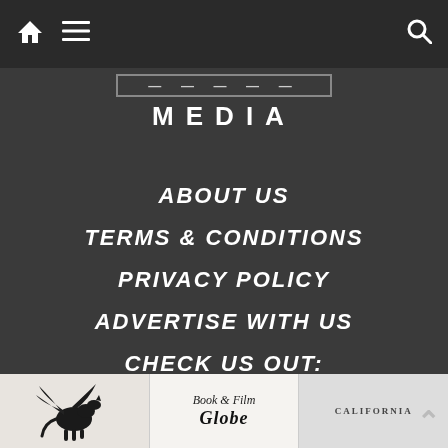Navigation bar with home icon, hamburger menu, and search icon
MEDIA
ABOUT US
TERMS & CONDITIONS
PRIVACY POLICY
ADVERTISE WITH US
CHECK US OUT:
[Figure (logo): Winged horse / pegasus logo icon]
[Figure (logo): Book & Film Globe logo text]
[Figure (logo): California text logo (partially visible)]